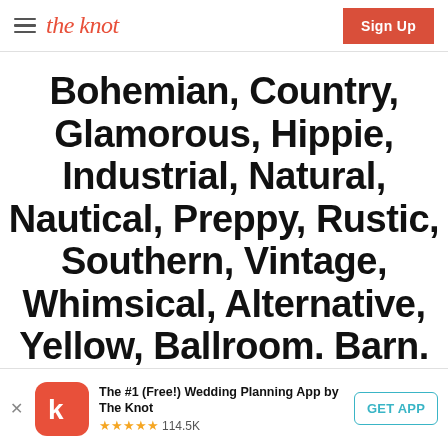the knot | Sign Up
Bohemian, Country, Glamorous, Hippie, Industrial, Natural, Nautical, Preppy, Rustic, Southern, Vintage, Whimsical, Alternative, Yellow, Ballroom. Barn. Castle.
The #1 (Free!) Wedding Planning App by The Knot ★★★★★ 114.5K GET APP